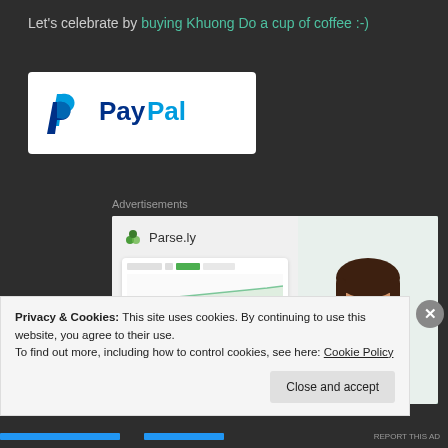Let's celebrate by buying Khuong Do a cup of coffee :-)
[Figure (logo): PayPal logo on white background]
Advertisements
[Figure (screenshot): Parse.ly advertisement banner showing 'Content Analytics Made Easy' with a smiling woman in green top and a dashboard screenshot]
Privacy & Cookies: This site uses cookies. By continuing to use this website, you agree to their use.
To find out more, including how to control cookies, see here: Cookie Policy
Close and accept